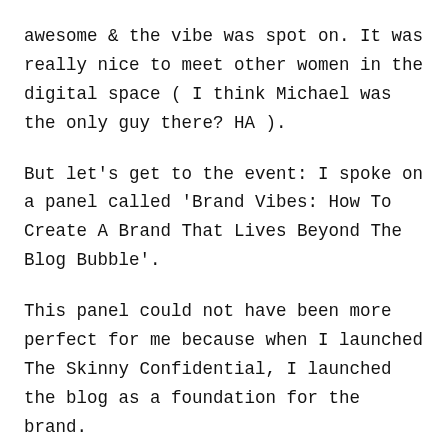awesome & the vibe was spot on. It was really nice to meet other women in the digital space ( I think Michael was the only guy there? HA ).
But let's get to the event: I spoke on a panel called 'Brand Vibes: How To Create A Brand That Lives Beyond The Blog Bubble'.
This panel could not have been more perfect for me because when I launched The Skinny Confidential, I launched the blog as a foundation for the brand.
Don't get me wrong, I'm a true blue blogger & always will be. BUT I wanted to start small